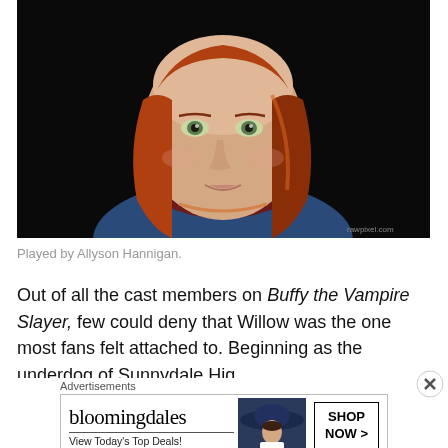[Figure (photo): Close-up portrait of a young woman with red/auburn bob-length hair, light complexion, wearing a blue top with dark red neckline and a thin orange necklace, against a dark background.]
Played by Allyson Hannigan.
Out of all the cast members on Buffy the Vampire Slayer, few could deny that Willow was the one most fans felt attached to. Beginning as the underdog of Sunnydale Hig
[Figure (screenshot): Bloomingdales advertisement: 'bloomingdales — View Today's Top Deals!' with a SHOP NOW > button and a woman wearing a wide-brim hat.]